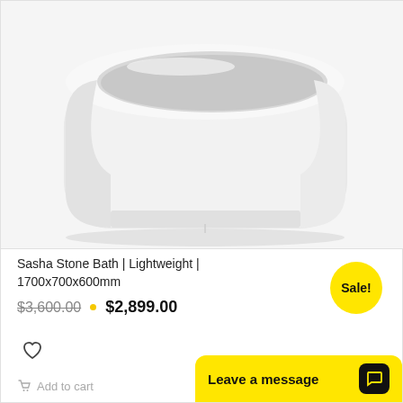[Figure (photo): White freestanding stone bath tub (Sasha Stone Bath), viewed from a slight angle showing the oval interior and smooth exterior. Product is white/matte finish on a light grey background.]
Sasha Stone Bath | Lightweight | 1700x700x600mm
$3,600.00  •  $2,899.00
Sale!
Add to cart